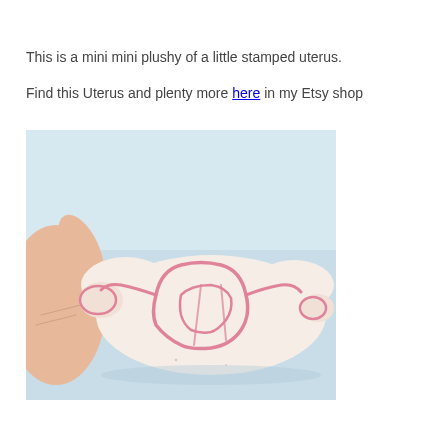This is a mini mini plushy of a little stamped uterus.
Find this Uterus and plenty more here in my Etsy shop
[Figure (photo): A hand holding a small stuffed plush toy shaped like a uterus, made from light cream fabric with a pink stamped uterus design. The background is light blue.]